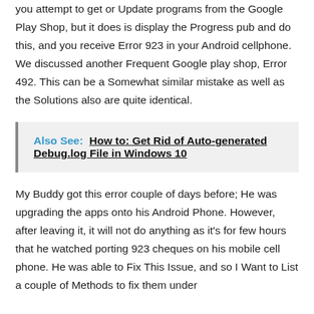you attempt to get or Update programs from the Google Play Shop, but it does is display the Progress pub and do this, and you receive Error 923 in your Android cellphone. We discussed another Frequent Google play shop, Error 492. This can be a Somewhat similar mistake as well as the Solutions also are quite identical.
Also See: How to: Get Rid of Auto-generated Debug.log File in Windows 10
My Buddy got this error couple of days before; He was upgrading the apps onto his Android Phone. However, after leaving it, it will not do anything as it's for few hours that he watched porting 923 cheques on his mobile cell phone. He was able to Fix This Issue, and so I Want to List a couple of Methods to fix them under